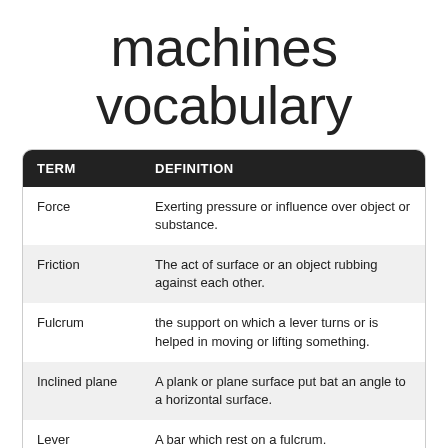machines vocabulary
| TERM | DEFINITION |
| --- | --- |
| Force | Exerting pressure or influence over object or substance. |
| Friction | The act of surface or an object rubbing against each other. |
| Fulcrum | the support on which a lever turns or is helped in moving or lifting something. |
| Inclined plane | A plank or plane surface put bat an angle to a horizontal surface. |
| Lever | A bar which rest on a fulcrum. |